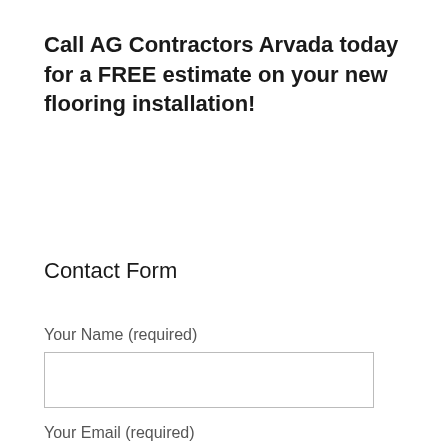Call AG Contractors Arvada today for a FREE estimate on your new flooring installation!
Contact Form
Your Name (required)
Your Email (required)